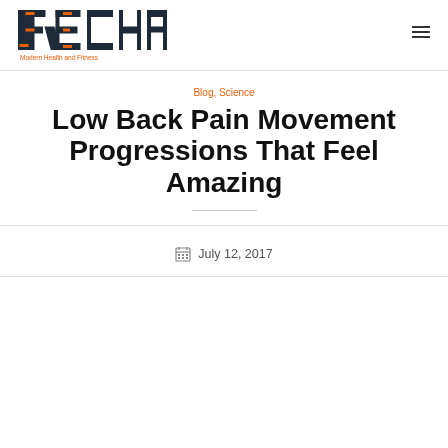[Figure (logo): RECHARGE Modern Health and Fitness logo with orange and dark navy geometric letterforms and tagline]
Blog, Science
Low Back Pain Movement Progressions That Feel Amazing
July 12, 2017